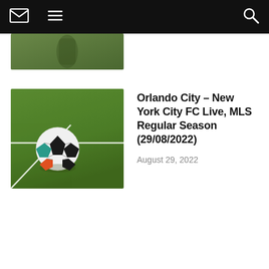Navigation bar with envelope, menu, and search icons
[Figure (photo): Partial cropped image from a previous article — green grass/soccer field background, partially visible]
[Figure (photo): Soccer ball on green grass field near corner/penalty box line]
Orlando City – New York City FC Live, MLS Regular Season (29/08/2022)
August 29, 2022